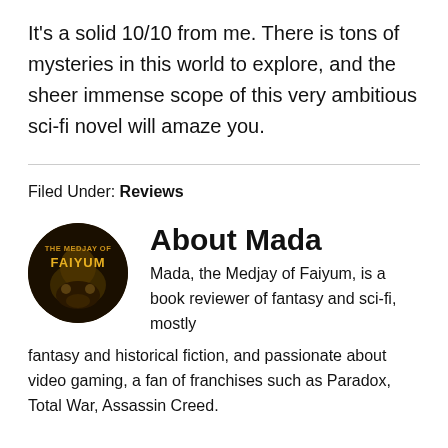It's a solid 10/10 from me. There is tons of mysteries in this world to explore, and the sheer immense scope of this very ambitious sci-fi novel will amaze you.
Filed Under: Reviews
[Figure (illustration): Circular avatar image with dark background showing 'THE MEDJAY OF FAIYUM' text in stylized gold/yellow lettering]
About Mada
Mada, the Medjay of Faiyum, is a book reviewer of fantasy and sci-fi, mostly fantasy and historical fiction, and passionate about video gaming, a fan of franchises such as Paradox, Total War, Assassin Creed.